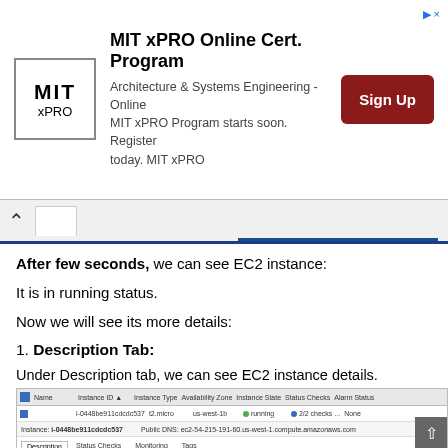[Figure (screenshot): MIT xPRO Online Certificate Program advertisement banner with logo, text, and Sign Up button]
After few seconds, we can see EC2 instance:
It is in running status.
Now we will see its more details:
1. Description Tab:
Under Description tab, we can see EC2 instance details.
[Figure (screenshot): AWS EC2 console screenshot showing instance i-0448be911cdcdc537 in running state with t2.micro type in us-west-1b availability zone, showing Description tab with Instance ID, Instance state, Instance type, Elastic IPs, Public DNS (IPv4), IPv4 Public IP, IPv6 IPs, Private DNS fields]